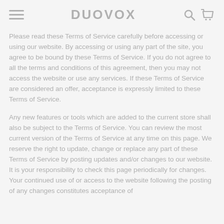DUOVOX
Please read these Terms of Service carefully before accessing or using our website. By accessing or using any part of the site, you agree to be bound by these Terms of Service. If you do not agree to all the terms and conditions of this agreement, then you may not access the website or use any services. If these Terms of Service are considered an offer, acceptance is expressly limited to these Terms of Service.
Any new features or tools which are added to the current store shall also be subject to the Terms of Service. You can review the most current version of the Terms of Service at any time on this page. We reserve the right to update, change or replace any part of these Terms of Service by posting updates and/or changes to our website. It is your responsibility to check this page periodically for changes. Your continued use of or access to the website following the posting of any changes constitutes acceptance of